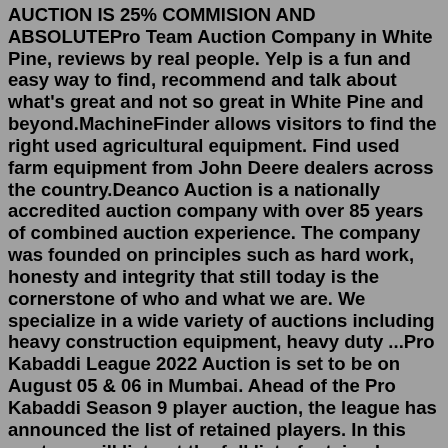AUCTION IS 25% COMMISION AND ABSOLUTEPro Team Auction Company in White Pine, reviews by real people. Yelp is a fun and easy way to find, recommend and talk about what's great and not so great in White Pine and beyond.MachineFinder allows visitors to find the right used agricultural equipment. Find used farm equipment from John Deere dealers across the country.Deanco Auction is a nationally accredited auction company with over 85 years of combined auction experience. The company was founded on principles such as hard work, honesty and integrity that still today is the cornerstone of who and what we are. We specialize in a wide variety of auctions including heavy construction equipment, heavy duty ...Pro Kabaddi League 2022 Auction is set to be on August 05 & 06 in Mumbai. Ahead of the Pro Kabaddi Season 9 player auction, the league has announced the list of retained players. In this post, we will list out the full list of retained players for the Pro Kabaddi auction. The PKL teams were given a choice